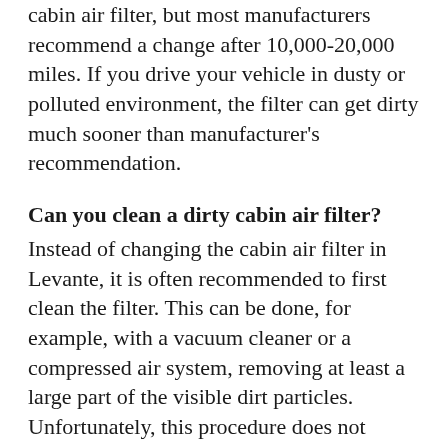cabin air filter, but most manufacturers recommend a change after 10,000-20,000 miles. If you drive your vehicle in dusty or polluted environment, the filter can get dirty much sooner than manufacturer's recommendation.
Can you clean a dirty cabin air filter?
Instead of changing the cabin air filter in Levante, it is often recommended to first clean the filter. This can be done, for example, with a vacuum cleaner or a compressed air system, removing at least a large part of the visible dirt particles. Unfortunately, this procedure does not allow you to get into the deeper layers of the filter. Therefore, the filter performance will not increase